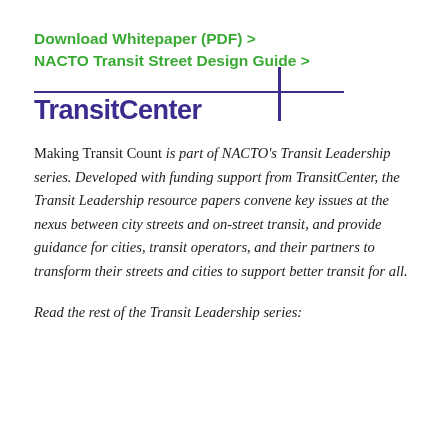Download Whitepaper (PDF) >
NACTO Transit Street Design Guide >
[Figure (logo): TransitCenter logo: bold purple text 'TransitCenter' with a horizontal purple line above spanning most of the width and a vertical purple bar to the right of the text]
Making Transit Count is part of NACTO's Transit Leadership series. Developed with funding support from TransitCenter, the Transit Leadership resource papers convene key issues at the nexus between city streets and on-street transit, and provide guidance for cities, transit operators, and their partners to transform their streets and cities to support better transit for all.
Read the rest of the Transit Leadership series: